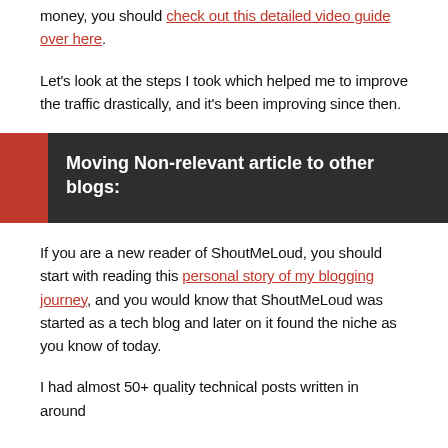money, you should check out this detailed video guide over here.
Let's look at the steps I took which helped me to improve the traffic drastically, and it's been improving since then.
Moving Non-relevant article to other blogs:
If you are a new reader of ShoutMeLoud, you should start with reading this personal story of my blogging journey, and you would know that ShoutMeLoud was started as a tech blog and later on it found the niche as you know of today.
I had almost 50+ quality technical posts written in around